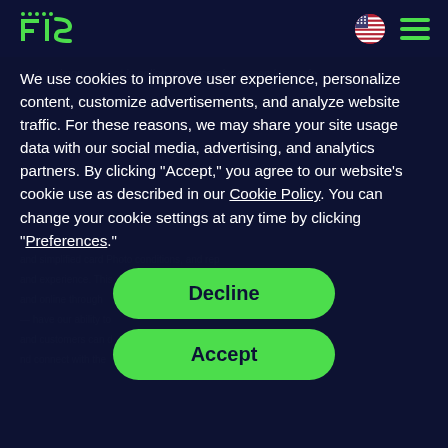[Figure (logo): FIS company logo in green on dark navy background]
We use cookies to improve user experience, personalize content, customize advertisements, and analyze website traffic. For these reasons, we may share your site usage data with our social media, advertising, and analytics partners. By clicking “Accept,” you agree to our website’s cookie use as described in our Cookie Policy. You can change your cookie settings at any time by clicking “Preferences.”
Decline
Accept